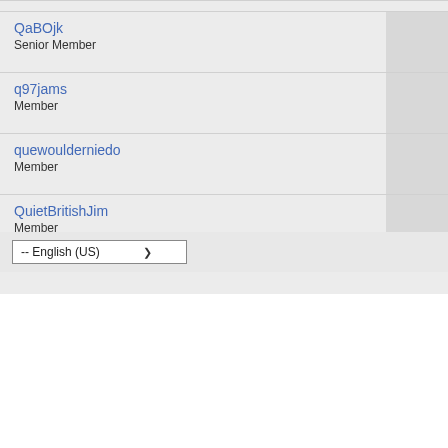| Username / Role | Avatar |
| --- | --- |
| QaBOjk
Senior Member |  |
| q97jams
Member |  |
| quewoulderniedo
Member |  |
| QuietBritishJim
Member |  |
-- English (US)